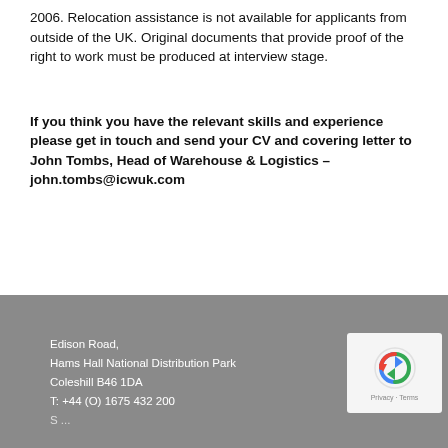2006. Relocation assistance is not available for applicants from outside of the UK. Original documents that provide proof of the right to work must be produced at interview stage.
If you think you have the relevant skills and experience please get in touch and send your CV and covering letter to John Tombs, Head of Warehouse & Logistics – john.tombs@icwuk.com
Edison Road,
Hams Hall National Distribution Park
Coleshill B46 1DA
T: +44 (O) 1675 432 200